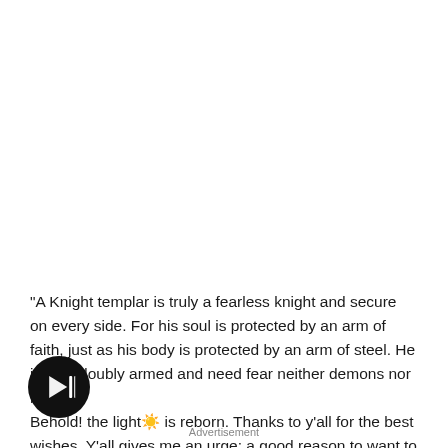[Figure (other): Circular black play button icon with triangular play symbol]
“A Knight templar is truly a fearless knight and secure on every side. For his soul is protected by an arm of faith, just as his body is protected by an arm of steel. He is thus doubly armed and need fear neither demons nor men”. Behold! the light☀️ is reborn. Thanks to y’all for the best wishes. Y’all gives me an urge; a good reason to want to FIX Menzgold swiftly like the speed of light. I’m motivated. God willing, we shall have clean slate a year by now.
Advertisement